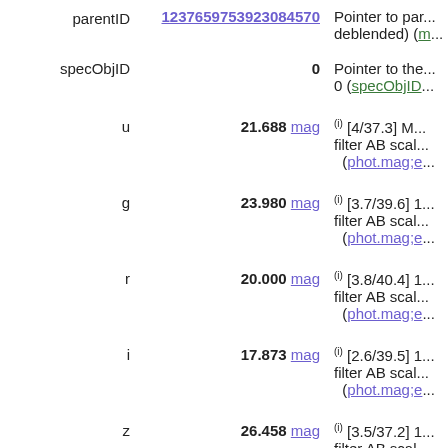| Name | Value | Description |
| --- | --- | --- |
| parentID | 1237659753923084570 | Pointer to par... deblended) (m... |
| specObjID | 0 | Pointer to the... 0 (specObjID... |
| u | 21.688 mag | (i) [4/37.3] M... filter AB scal... (phot.mag;e... |
| g | 23.980 mag | (i) [3.7/39.6] 1... filter AB scal... (phot.mag;e... |
| r | 20.000 mag | (i) [3.8/40.4] 1... filter AB scal... (phot.mag;e... |
| i | 17.873 mag | (i) [2.6/39.5] 1... filter AB scal... (phot.mag;e... |
| z | 26.458 mag | (i) [3.5/37.2] 1... filter AB scal... (phot.mag;e... |
| err_u | 2.482 mag | [8.9e-8/3444]... (err_u) (stat.e... |
| err_g | 0.058 mag | [2.8e-8/5955... |